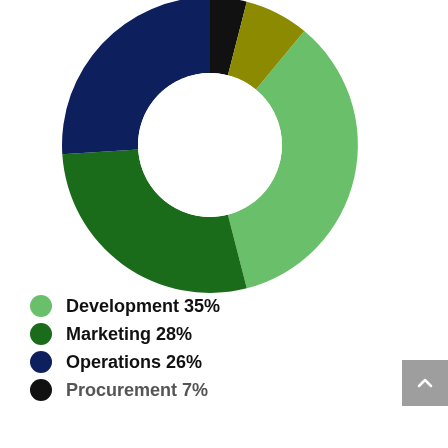[Figure (donut-chart): ]
Development 35%
Marketing 28%
Operations 26%
Procurement 7%